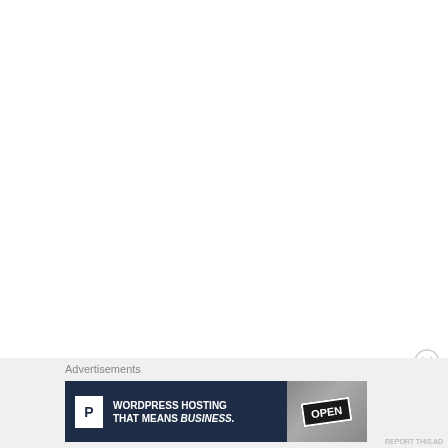Advertisements
Advertisements
[Figure (screenshot): Advertisement banner: WordPress Hosting That Means BUSINESS. with P logo icon on dark navy background and an OPEN sign photo on the right.]